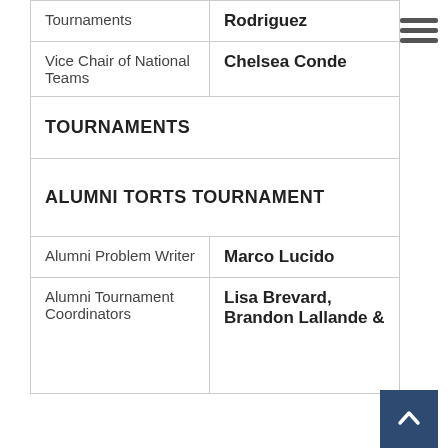| Tournaments | Rodriguez |
| Vice Chair of National Teams | Chelsea Conde |
| TOURNAMENTS |  |
| ALUMNI TORTS TOURNAMENT |  |
| Alumni Problem Writer | Marco Lucido |
| Alumni Tournament Coordinators | Lisa Brevard, Brandon Lallande & |